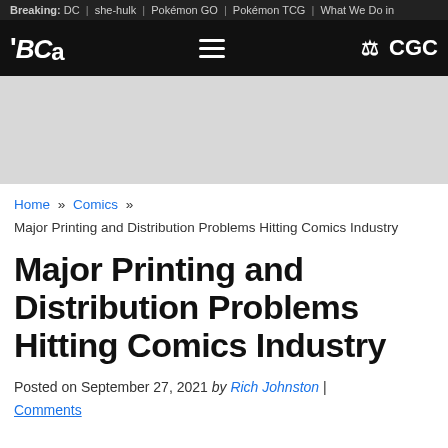Breaking: DC | she-hulk | Pokémon GO | Pokémon TCG | What We Do in
[Figure (logo): Bleeding Cool (BCG) logo and CGC partner logo in black navigation bar with hamburger menu]
[Figure (other): Gray advertisement banner placeholder]
Home » Comics » Major Printing and Distribution Problems Hitting Comics Industry
Major Printing and Distribution Problems Hitting Comics Industry
Posted on September 27, 2021 by Rich Johnston | Comments